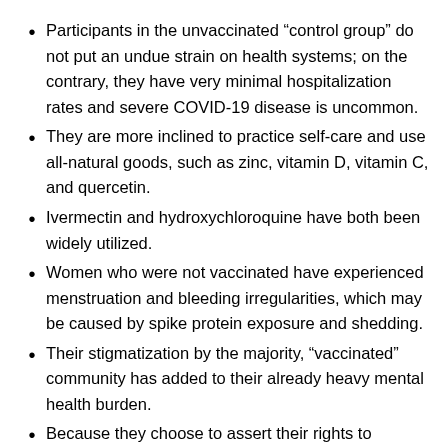Participants in the unvaccinated “control group” do not put an undue strain on health systems; on the contrary, they have very minimal hospitalization rates and severe COVID-19 disease is uncommon.
They are more inclined to practice self-care and use all-natural goods, such as zinc, vitamin D, vitamin C, and quercetin.
Ivermectin and hydroxychloroquine have both been widely utilized.
Women who were not vaccinated have experienced menstruation and bleeding irregularities, which may be caused by spike protein exposure and shedding.
Their stigmatization by the majority, “vaccinated” community has added to their already heavy mental health burden.
Because they choose to assert their rights to informed